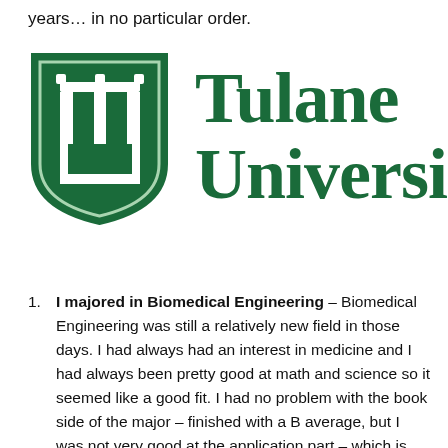years… in no particular order.
[Figure (logo): Tulane University logo: green shield with 'TU' monogram on the left, and the text 'Tulane University' in large dark green serif font on the right.]
I majored in Biomedical Engineering – Biomedical Engineering was still a relatively new field in those days. I had always had an interest in medicine and I had always been pretty good at math and science so it seemed like a good fit. I had no problem with the book side of the major – finished with a B average, but I was not very good at the application part – which is pretty much what